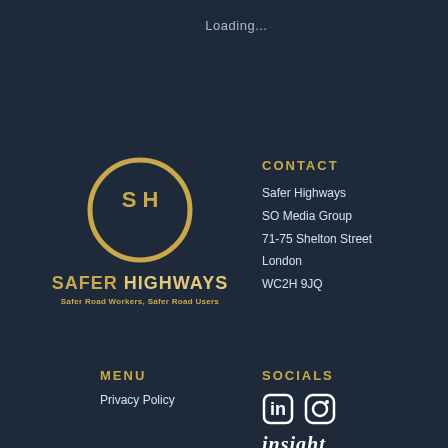Loading...
[Figure (logo): Safer Highways logo: circular gold ring with SH initials, text SAFER HIGHWAYS and tagline Safer Road Workers, Safer Road Users]
CONTACT
Safer Highways
SO Media Group
71-75 Shelton Street
London
WC2H 9JQ
MENU
Privacy Policy
SOCIALS
[Figure (illustration): LinkedIn and Instagram social media icons in white]
[Figure (logo): insight logo in white bold italic serif font]